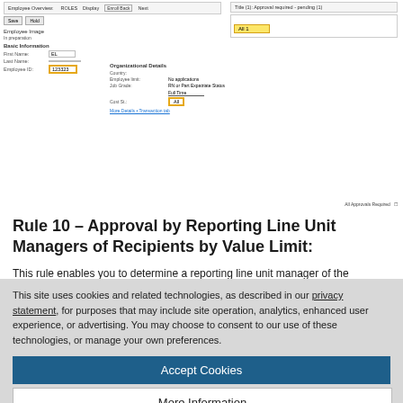[Figure (screenshot): Screenshot of an employee overview UI panel showing enrollment details with highlighted fields, and a right panel showing approval required field highlighted in yellow]
Rule 10 – Approval by Reporting Line Unit Managers of Recipients by Value Limit:
This rule enables you to determine a reporting line unit manager of the recipient's manager by the reporting line unit manager. If the...
This site uses cookies and related technologies, as described in our privacy statement, for purposes that may include site operation, analytics, enhanced user experience, or advertising. You may choose to consent to our use of these technologies, or manage your own preferences.
Accept Cookies
More Information
Privacy Policy | Powered by: TrustArc